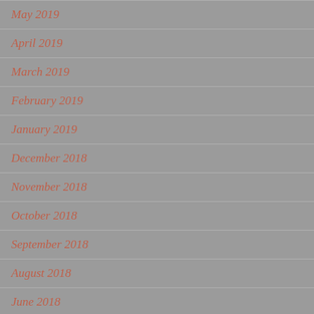May 2019
April 2019
March 2019
February 2019
January 2019
December 2018
November 2018
October 2018
September 2018
August 2018
June 2018
May 2018